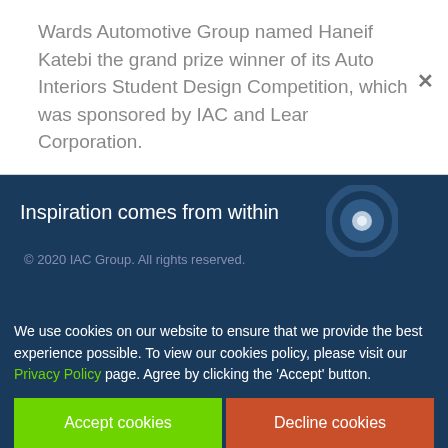Wards Automotive Group named Haneif Katebi the grand prize winner of its Auto Interiors Student Design Competition, which was sponsored by IAC and Lear Corporation.
Inspiration comes from within
© 2020 IAC Group. All rights reserved.
We use cookies on our website to ensure that we provide the best experience possible. To view our cookies policy, please visit our Privacy Policy page. Agree by clicking the 'Accept' button.
Accept cookies
Decline cookies